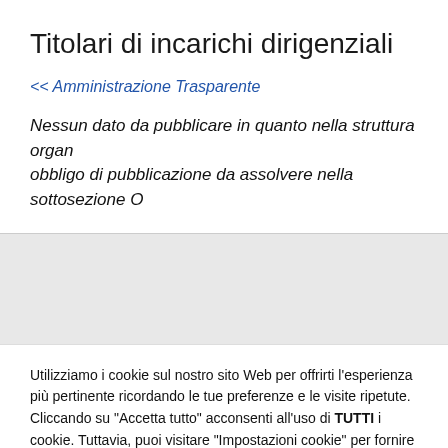Titolari di incarichi dirigenziali
<< Amministrazione Trasparente
Nessun dato da pubblicare in quanto nella struttura organ... obbligo di pubblicazione da assolvere nella sottosezione O...
Utilizziamo i cookie sul nostro sito Web per offrirti l'esperienza più pertinente ricordando le tue preferenze e le visite ripetute. Cliccando su "Accetta tutto" acconsenti all'uso di TUTTI i cookie. Tuttavia, puoi visitare "Impostazioni cookie" per fornire un consenso controllato.
Impostazioni Cookie | Accetto tutto | Rifiuta